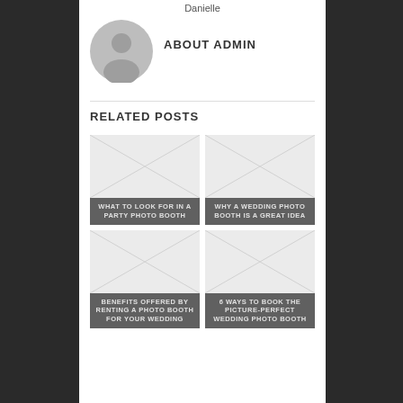Danielle
ABOUT ADMIN
[Figure (illustration): Gray default avatar/profile picture icon]
RELATED POSTS
[Figure (photo): Placeholder image for related post: WHAT TO LOOK FOR IN A PARTY PHOTO BOOTH]
WHAT TO LOOK FOR IN A PARTY PHOTO BOOTH
[Figure (photo): Placeholder image for related post: WHY A WEDDING PHOTO BOOTH IS A GREAT IDEA]
WHY A WEDDING PHOTO BOOTH IS A GREAT IDEA
[Figure (photo): Placeholder image for related post: BENEFITS OFFERED BY RENTING A PHOTO BOOTH FOR YOUR WEDDING]
BENEFITS OFFERED BY RENTING A PHOTO BOOTH FOR YOUR WEDDING
[Figure (photo): Placeholder image for related post: 6 WAYS TO BOOK THE PICTURE-PERFECT WEDDING PHOTO BOOTH]
6 WAYS TO BOOK THE PICTURE-PERFECT WEDDING PHOTO BOOTH